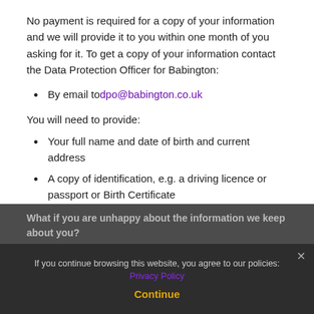No payment is required for a copy of your information and we will provide it to you within one month of you asking for it. To get a copy of your information contact the Data Protection Officer for Babington:
By email to dpo@babington.co.uk
You will need to provide:
Your full name and date of birth and current address
A copy of identification, e.g. a driving licence or passport or Birth Certificate
What if you are unhappy about the information we keep about you?
If you continue browsing this website, you agree to our policies: Privacy Policy
Continue